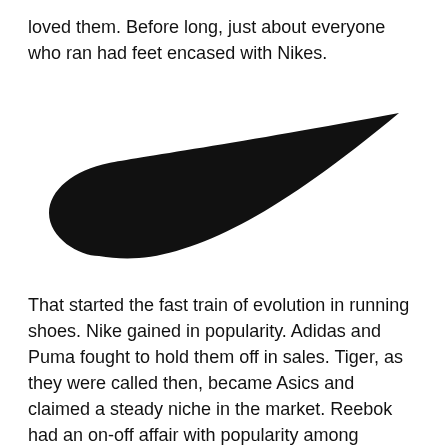loved them.  Before long, just about everyone who ran had feet encased with Nikes.
[Figure (logo): Nike swoosh logo in black on white background]
That started the fast train of evolution in running shoes.  Nike gained in popularity.  Adidas and Puma fought to hold them off in sales.  Tiger, as they were called then, became Asics and claimed a steady niche in the market.  Reebok had an on-off affair with popularity among distance runners.